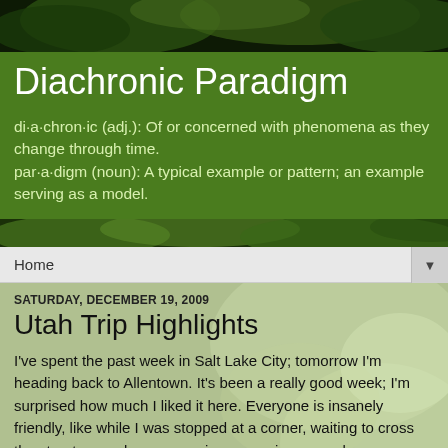[Figure (photo): Dark green tree canopy photo banner at top of blog header]
Diachronic Paradigm
di·a·chron·ic (adj.): Of or concerned with phenomena as they change through time.
par·a·digm (noun): A typical example or pattern; an example serving as a model.
[Figure (photo): Lower green foliage photo strip below title band]
Home
SATURDAY, DECEMBER 19, 2009
Utah Trip Highlights
I've spent the past week in Salt Lake City; tomorrow I'm heading back to Allentown. It's been a really good week; I'm surprised how much I liked it here. Everyone is insanely friendly, like while I was stopped at a corner, waiting to cross the street, a random woman in a car going around a corner looked out at me, smiled, and waved. I took pictures. (Not of